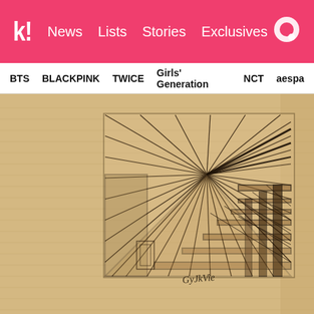k! News  Lists  Stories  Exclusives
BTS  BLACKPINK  TWICE  Girls' Generation  NCT  aespa
[Figure (illustration): A hand-drawn pen sketch on lined notebook paper showing a one-point perspective architectural drawing of an interior corridor or hallway with converging lines and structural elements. A signature is visible at the bottom center of the drawing.]